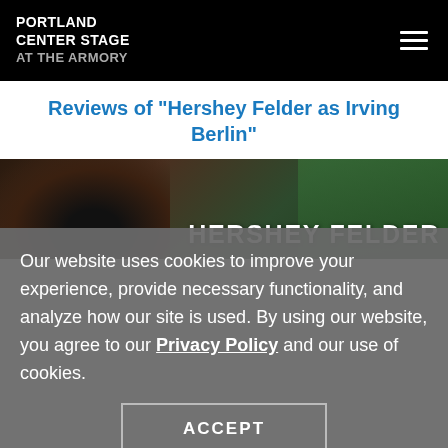PORTLAND CENTER STAGE AT THE ARMORY
Reviews of "Hershey Felder as Irving Berlin"
[Figure (photo): Promotional photo for Hershey Felder as Irving Berlin, showing a performer with glasses on the left and historical black-and-white figures on the right, with the text HERSHEY FELDER overlaid.]
Our website uses cookies to improve your experience, provide necessary functionality, and analyze how our site is used. By using our website, you agree to our Privacy Policy and our use of cookies.
ACCEPT